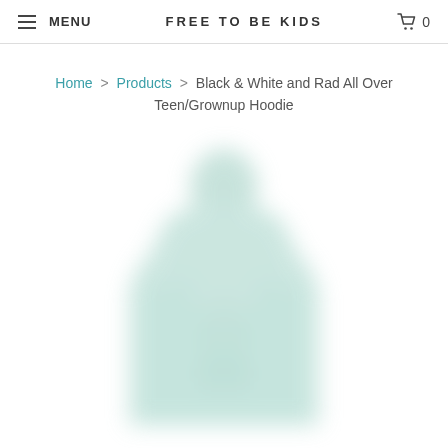MENU | FREE TO BE KIDS | 0
Home > Products > Black & White and Rad All Over Teen/Grownup Hoodie
[Figure (photo): Blurry/placeholder image of a hoodie on a mannequin or ghost form, light mint/green tint, very soft focus]